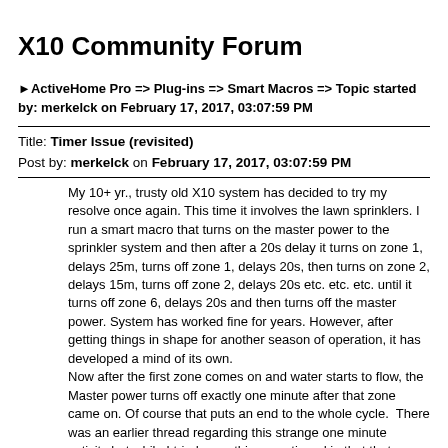X10 Community Forum
►ActiveHome Pro => Plug-ins => Smart Macros => Topic started by: merkelck on February 17, 2017, 03:07:59 PM
Title: Timer Issue (revisited)
Post by: merkelck on February 17, 2017, 03:07:59 PM
My 10+ yr., trusty old X10 system has decided to try my resolve once again. This time it involves the lawn sprinklers. I run a smart macro that turns on the master power to the sprinkler system and then after a 20s delay it turns on zone 1, delays 25m, turns off zone 1, delays 20s, then turns on zone 2, delays 15m, turns off zone 2, delays 20s etc. etc. etc. until it turns off zone 6, delays 20s and then turns off the master power. System has worked fine for years. However, after getting things in shape for another season of operation, it has developed a mind of its own.
Now after the first zone comes on and water starts to flow, the Master power turns off exactly one minute after that zone came on. Of course that puts an end to the whole cycle.  There was an earlier thread regarding this strange one minute activity but while I tried everything mentioned in that that thread, nothing has cured the issue. I have powered down the CM15a, replaced the batteries, cleared the memory and reloaded the timers and macros several times with no change. I created a one zone macro with different delays and the same thing